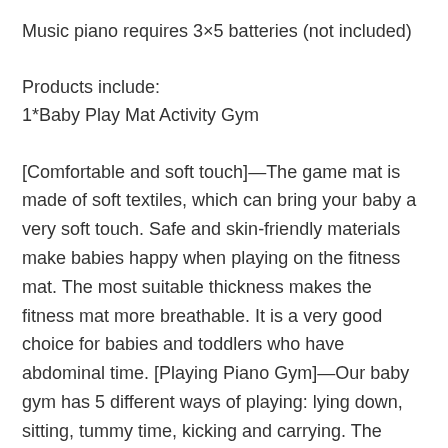Music piano requires 3×5 batteries (not included)
Products include:
1*Baby Play Mat Activity Gym
[Comfortable and soft touch]—The game mat is made of soft textiles, which can bring your baby a very soft touch. Safe and skin-friendly materials make babies happy when playing on the fitness mat. The most suitable thickness makes the fitness mat more breathable. It is a very good choice for babies and toddlers who have abdominal time. [Playing Piano Gym]—Our baby gym has 5 different ways of playing: lying down, sitting, tummy time, kicking and carrying. The unique arch and musical piano can attract babies to touch, and then make a